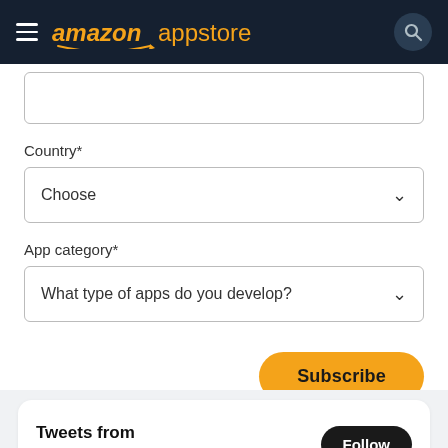amazon appstore
Country*
Choose
App category*
What type of apps do you develop?
Subscribe
Tweets from @AmazonAppDev
Follow